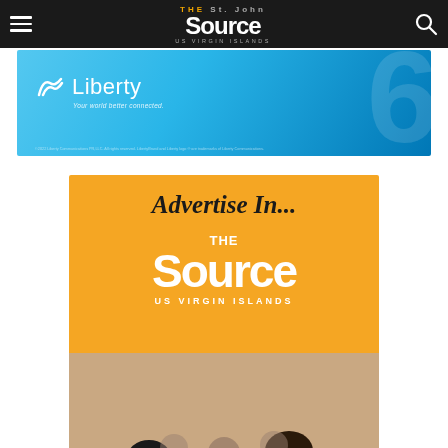The St. John Source — US Virgin Islands
[Figure (advertisement): Liberty Communications advertisement with blue gradient background, Liberty logo, tagline 'Your world better connected.']
[Figure (advertisement): Advertise In... The Source US Virgin Islands promotional banner on orange background with photo of people dining]